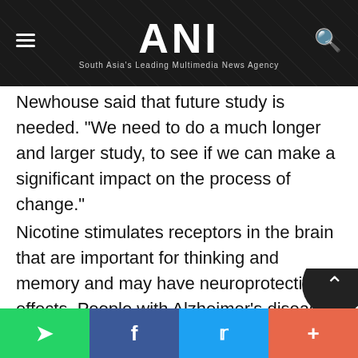ANI — South Asia's Leading Multimedia News Agency
Newhouse said that future study is needed. "We need to do a much longer and larger study, to see if we can make a significant impact on the process of change."
Nicotine stimulates receptors in the brain that are important for thinking and memory and may have neuroprotective effects. People with Alzheimer's disease lose some of those receptors. (ANI)
WhatsApp | Facebook | Twitter | More